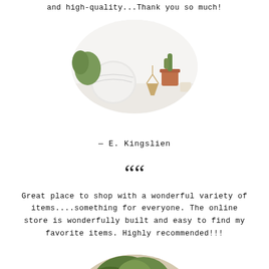and high-quality...Thank you so much!
[Figure (photo): Oval-shaped photo of home decor items: a white globe, a small cactus in a terracotta pot with a geometric gold stand, and a small candle on a white surface]
— E. Kingslien
““
Great place to shop with a wonderful variety of items....something for everyone. The online store is wonderfully built and easy to find my favorite items. Highly recommended!!!
[Figure (photo): Oval-shaped photo showing green plants/ferns against a light wooden plank background, partially cut off at bottom of page]